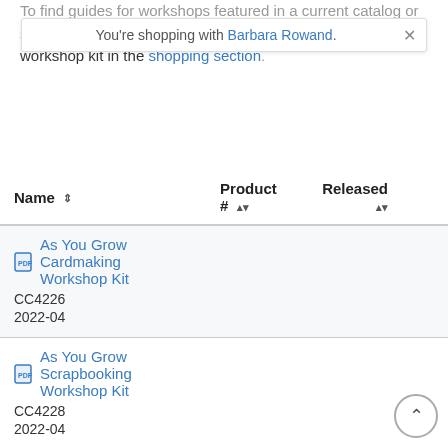To find guides for workshops featured in a current catalog or special, please visit the product page for the associated workshop kit in the shopping section.
You're shopping with Barbara Rowand. ×
| Name | Product # | Released |
| --- | --- | --- |
| As You Grow Cardmaking Workshop Kit | CC4226 | 2022-04 |
| As You Grow Scrapbooking Workshop Kit | CC4228 | 2022-04 |
| Aurora Cardmaking Workshop Kit | G1205 | 2020-05 |
| Aurora Scrapbooking Workshop Kit | G1201 |  |